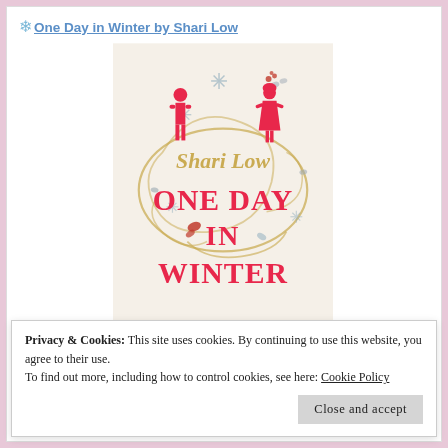One Day in Winter by Shari Low
[Figure (illustration): Book cover of 'One Day in Winter' by Shari Low. Features two red silhouetted figures (man and woman), golden swirling lines, snowflakes, small birds in grey, autumn leaves in red, text 'Shari Low' in gold script, 'ONE DAY IN WINTER' in large red serif letters, all on a cream background.]
Privacy & Cookies: This site uses cookies. By continuing to use this website, you agree to their use.
To find out more, including how to control cookies, see here: Cookie Policy
Close and accept